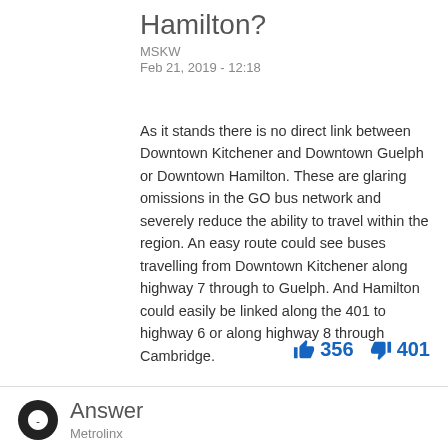Hamilton?
MSKW
Feb 21, 2019 - 12:18
As it stands there is no direct link between Downtown Kitchener and Downtown Guelph or Downtown Hamilton. These are glaring omissions in the GO bus network and severely reduce the ability to travel within the region. An easy route could see buses travelling from Downtown Kitchener along highway 7 through to Guelph. And Hamilton could easily be linked along the 401 to highway 6 or along highway 8 through Cambridge.
👍 356  👎 401
Answer
Metrolinx